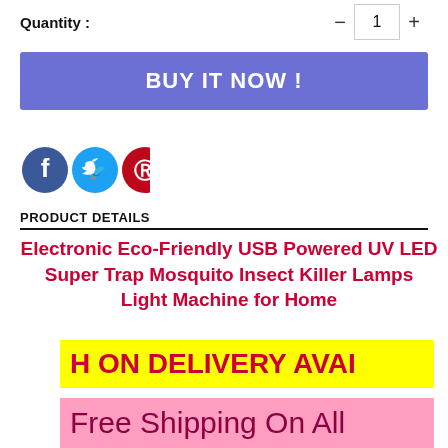Quantity :
BUY IT NOW !
[Figure (illustration): Facebook, Twitter, and Pinterest social media icons (circular icons in dark blue, light blue, and red/maroon)]
PRODUCT DETAILS
Electronic Eco-Friendly USB Powered UV LED Super Trap Mosquito Insect Killer Lamps Light Machine for Home
H ON DELIVERY AVAIL
Free Shipping On All